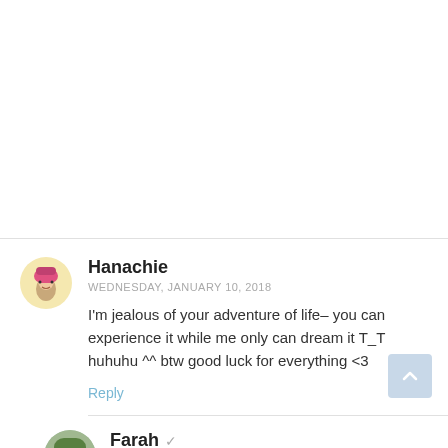Hanachie
WEDNESDAY, JANUARY 10, 2018
I'm jealous of your adventure of life– you can experience it while me only can dream it T_T huhuhu ^^ btw good luck for everything <3
Reply
Farah